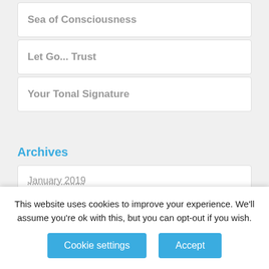Sea of Consciousness
Let Go... Trust
Your Tonal Signature
Archives
January 2019
December 2018
This website uses cookies to improve your experience. We'll assume you're ok with this, but you can opt-out if you wish.
Cookie settings
Accept